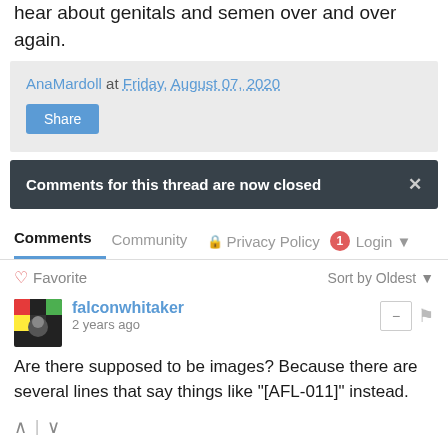hear about genitals and semen over and over again.
AnaMardoll at Friday, August 07, 2020
Share
Comments for this thread are now closed
Comments  Community  Privacy Policy  1  Login
Favorite  Sort by Oldest
falconwhitaker
2 years ago
Are there supposed to be images? Because there are several lines that say things like "[AFL-011]" instead.
Ana Mardoll → falconwhitaker
2 years ago